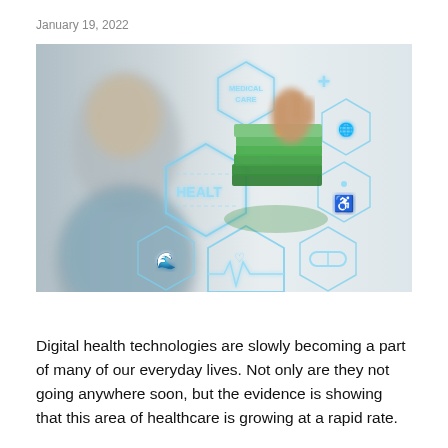January 19, 2022
[Figure (photo): A blurred person pointing at a set of glowing hexagonal medical/health icons including 'Medical Care', 'HEALTH', a heart-rate monitor symbol, a wheelchair symbol, a pill, a globe, a plus sign, and a stack of green dollar bills being held by a hand.]
Digital health technologies are slowly becoming a part of many of our everyday lives. Not only are they not going anywhere soon, but the evidence is showing that this area of healthcare is growing at a rapid rate.